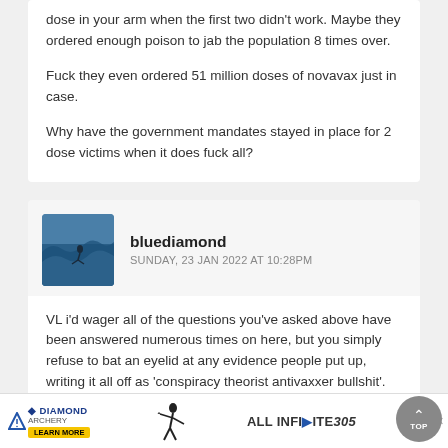dose in your arm when the first two didn't work. Maybe they ordered enough poison to jab the population 8 times over.

Fuck they even ordered 51 million doses of novavax just in case.

Why have the government mandates stayed in place for 2 dose victims when it does fuck all?
bluediamond
SUNDAY, 23 JAN 2022 at 10:28PM
VL i'd wager all of the questions you've asked above have been answered numerous times on here, but you simply refuse to bat an eyelid at any evidence people put up, writing it all off as 'conspiracy theorist antivaxxer bullshit'. Why would anyone bother trying to convince a lunatic like you?
[Figure (infographic): Advertisement banner for Diamond Archery and InfiNite305 with Learn More button and close/play icons]